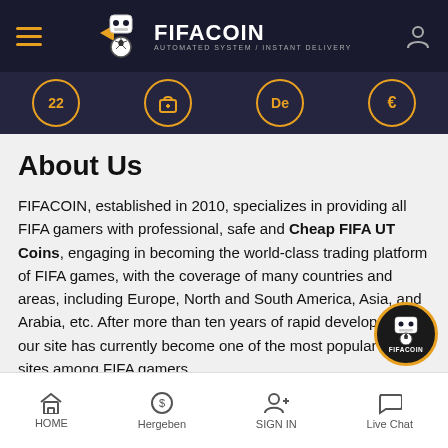[Figure (logo): FIFACOIN website header with hamburger menu, logo (robot with soccer ball and orange ribbon), AUTOMATED SYSTEM/INSTANT DELIVERY tagline, and user icon]
[Figure (infographic): Secondary navigation bar with four circled icons: 22 (number), gift box, De (language), and euro sign]
About Us
FIFACOIN, established in 2010, specializes in providing all FIFA gamers with professional, safe and Cheap FIFA UT Coins, engaging in becoming the world-class trading platform of FIFA games, with the coverage of many countries and areas, including Europe, North and South America, Asia, and Arabia, etc. After more than ten years of rapid development, our site has currently become one of the most popular brand sites among FIFA gamers.
[Figure (logo): FIFACOIN circular chat/support button with robot logo and orange border]
[Figure (infographic): Bottom navigation bar with HOME (house icon), Hergeben (dollar circle icon), SIGN IN (person+ icon), Live Chat (speech bubble icon)]